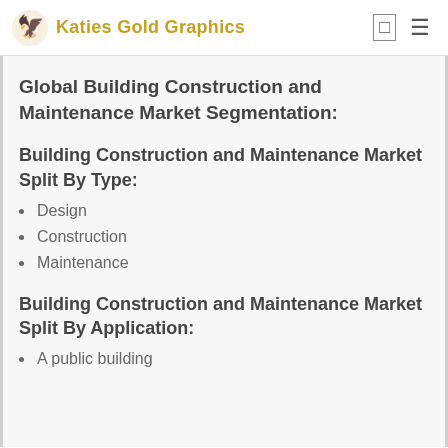Katies Gold Graphics
Global Building Construction and Maintenance Market Segmentation:
Building Construction and Maintenance Market Split By Type:
Design
Construction
Maintenance
Building Construction and Maintenance Market Split By Application:
A public building